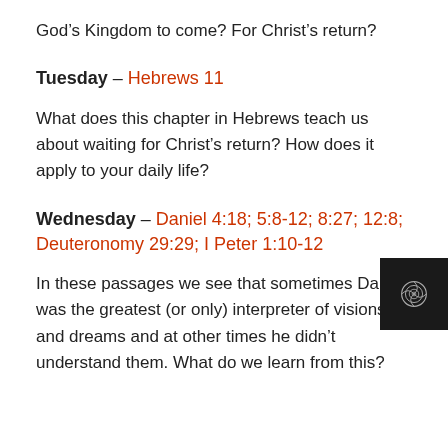God’s Kingdom to come? For Christ’s return?
Tuesday – Hebrews 11
What does this chapter in Hebrews teach us about waiting for Christ’s return? How does it apply to your daily life?
Wednesday – Daniel 4:18; 5:8-12; 8:27; 12:8; Deuteronomy 29:29; I Peter 1:10-12
In these passages we see that sometimes Daniel was the greatest (or only) interpreter of visions and dreams and at other times he didn’t understand them. What do we learn from this?